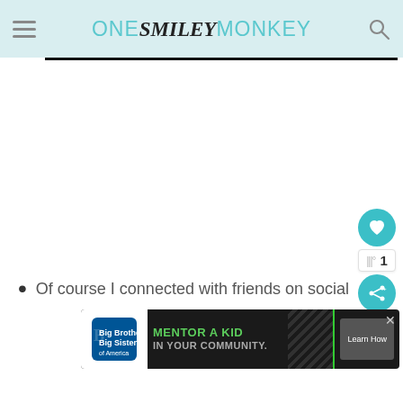ONE SMILEY MONKEY
[Figure (screenshot): White content area placeholder]
Of course I connected with friends on social
[Figure (screenshot): Big Brothers Big Sisters advertisement banner: MENTOR A KID IN YOUR COMMUNITY. Learn How]